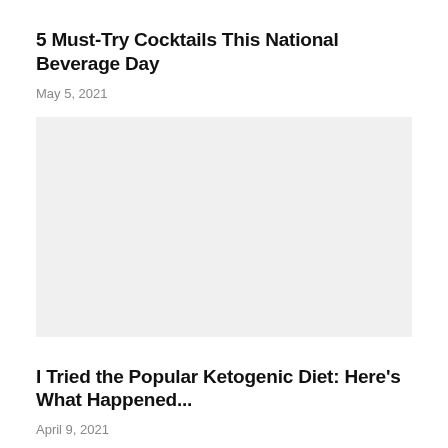5 Must-Try Cocktails This National Beverage Day
May 5, 2021
[Figure (photo): Large image placeholder area for the cocktails article]
I Tried the Popular Ketogenic Diet: Here's What Happened...
April 9, 2021